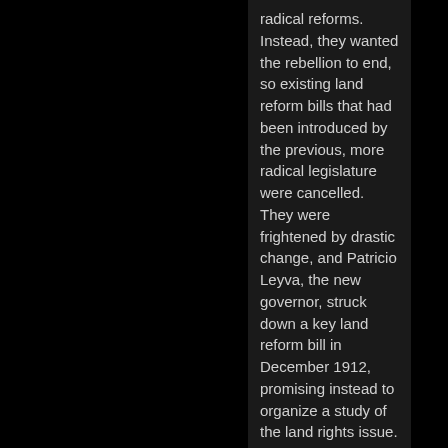radical reforms. Instead, they wanted the rebellion to end, so existing land reform bills that had been introduced by the previous, more radical legislature were cancelled. They were frightened by drastic change, and Patricio Leyva, the new governor, struck down a key land reform bill in December 1912, promising instead to organize a study of the land rights issue. Lacking patience to